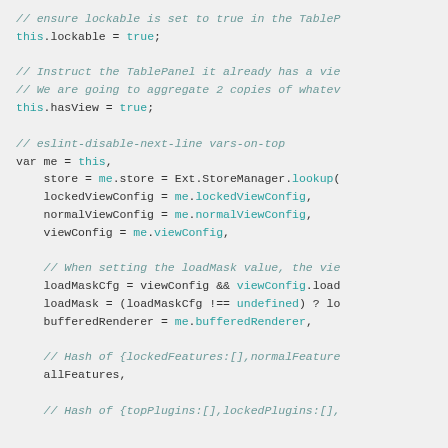// ensure lockable is set to true in the TableP
this.lockable = true;

// Instruct the TablePanel it already has a vie
// We are going to aggregate 2 copies of whatev
this.hasView = true;

// eslint-disable-next-line vars-on-top
var me = this,
    store = me.store = Ext.StoreManager.lookup(
    lockedViewConfig = me.lockedViewConfig,
    normalViewConfig = me.normalViewConfig,
    viewConfig = me.viewConfig,

    // When setting the loadMask value, the vie
    loadMaskCfg = viewConfig && viewConfig.load
    loadMask = (loadMaskCfg !== undefined) ? lo
    bufferedRenderer = me.bufferedRenderer,

    // Hash of {lockedFeatures:[],normalFeature
    allFeatures,

    // Hash of {topPlugins:[],lockedPlugins:[],